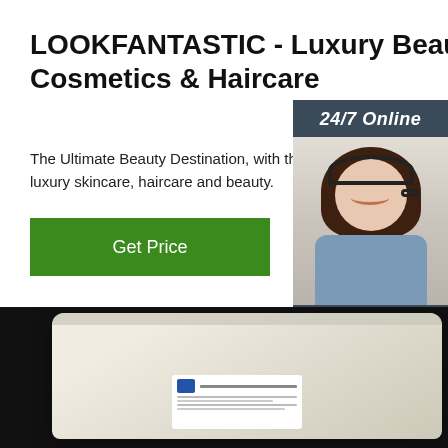LOOKFANTASTIC - Luxury Beauty, Cosmetics & Haircare
The Ultimate Beauty Destination, with the biggest luxury skincare, haircare and beauty.
Get Price
[Figure (photo): Customer service agent with headset, 24/7 Online chat widget with dark blue background, orange QUOTATION button]
[Figure (photo): Product image: a sealed plastic bag containing white powder on dark background, with a label showing a logo and Chinese text. Orange TOP logo in bottom right corner.]